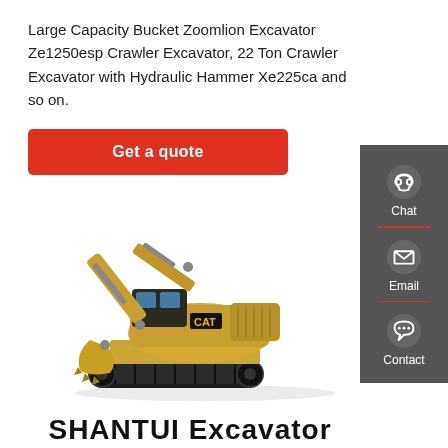Large Capacity Bucket Zoomlion Excavator Ze1250esp Crawler Excavator, 22 Ton Crawler Excavator with Hydraulic Hammer Xe225ca and so on.
[Figure (other): Red 'Get a quote' call-to-action button]
[Figure (photo): CAT crawler excavator (yellow/black) shown in side profile with boom extended]
[Figure (other): Sidebar with Chat, Email, and Contact icons on dark grey background]
SHANTUI Excavator